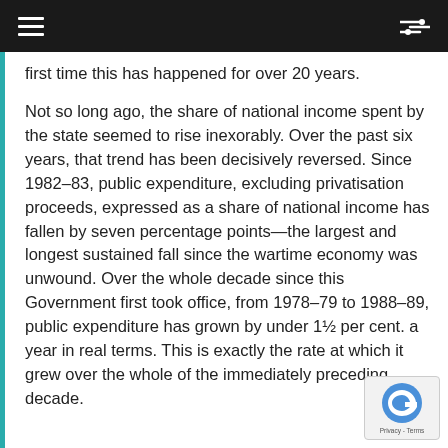≡  ⇌
first time this has happened for over 20 years.
Not so long ago, the share of national income spent by the state seemed to rise inexorably. Over the past six years, that trend has been decisively reversed. Since 1982–83, public expenditure, excluding privatisation proceeds, expressed as a share of national income has fallen by seven percentage points—the largest and longest sustained fall since the wartime economy was unwound. Over the whole decade since this Government first took office, from 1978–79 to 1988–89, public expenditure has grown by under 1½ per cent. a year in real terms. This is exactly the rate at which it grew over the whole of the immediately preceding decade.